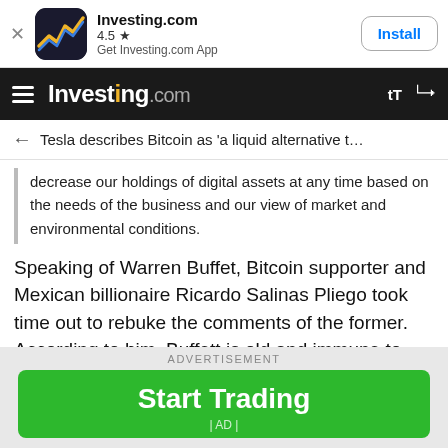[Figure (screenshot): Investing.com app install banner with app icon, 4.5 star rating, and Install button]
Investing.com
Tesla describes Bitcoin as 'a liquid alternative t…
decrease our holdings of digital assets at any time based on the needs of the business and our view of market and environmental conditions.
Speaking of Warren Buffet, Bitcoin supporter and Mexican billionaire Ricardo Salinas Pliego took time out to rebuke the comments of the former. According to him, Buffett is old and immune to change.
[Figure (screenshot): Dark advertisement banner area]
ADVERTISEMENT
Start Trading | AD |